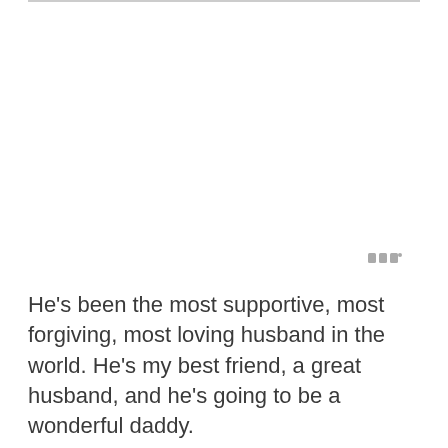He’s been the most supportive, most forgiving, most loving husband in the world. He’s my best friend, a great husband, and he’s going to be a wonderful daddy.
I love you baby, and can’t wait to see what the next 5(,000,000) years hold!